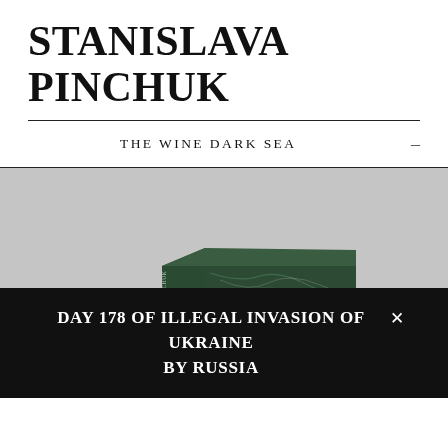STANISLAVA PINCHUK
THE WINE DARK SEA
[Figure (photo): A dark green marble-textured box/book with white text on its surface sitting on a light grey background. The text on the box references Cyclops, Polyphemus, and Nemo.]
DAY 178 OF ILLEGAL INVASION OF UKRAINE BY RUSSIA